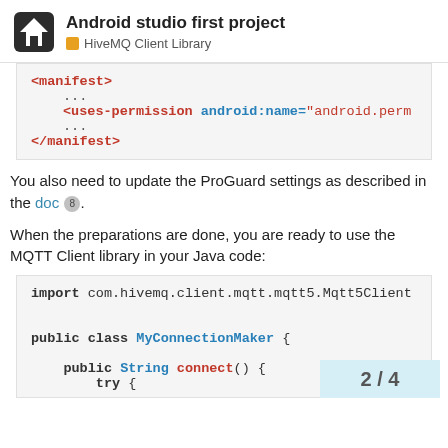Android studio first project — HiveMQ Client Library
<manifest>
    ...
    <uses-permission android:name="android.perm...
    ...
</manifest>
You also need to update the ProGuard settings as described in the doc 8.
When the preparations are done, you are ready to use the MQTT Client library in your Java code:
import com.hivemq.client.mqtt.mqtt5.Mqtt5Client

public class MyConnectionMaker {

    public String connect() {
        try {
2 / 4